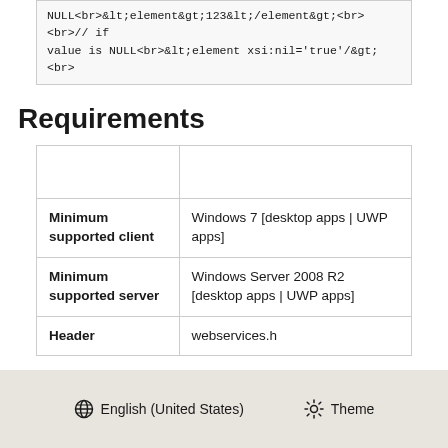NULL<br>&lt;element&gt;123&lt;/element&gt;<br><br>// if value is NULL<br>&lt;element xsi:nil='true'/&gt;<br>
Requirements
|  |  |
| --- | --- |
|  |  |
| Minimum supported client | Windows 7 [desktop apps | UWP apps] |
| Minimum supported server | Windows Server 2008 R2 [desktop apps | UWP apps] |
| Header | webservices.h |
🌐 English (United States)   ☀ Theme